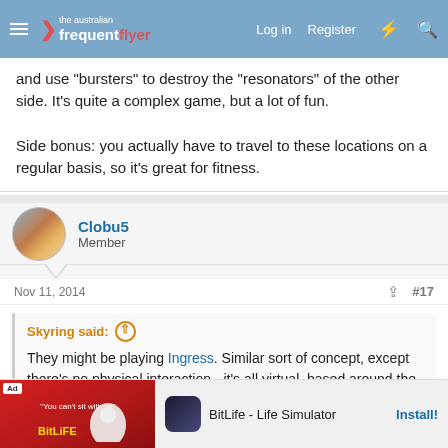the australian frequent flyer | Log in | Register
and use "bursters" to destroy the "resonators" of the other side. It's quite a complex game, but a lot of fun.

Side bonus: you actually have to travel to these locations on a regular basis, so it's great for fitness.
Clobu5
Member
Nov 11, 2014  #17
Skyring said:
They might be playing Ingress. Similar sort of concept, except there's no physical interaction - it's all virtual, based around the locations of cultural objects.
Wow tha...ther version...